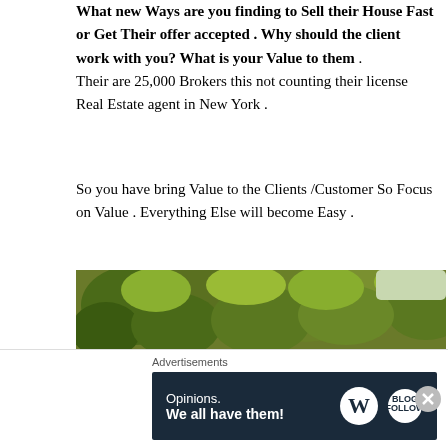What new Ways are you finding to Sell their House Fast or Get Their offer accepted . Why should the client work with you? What is your Value to them . Their are 25,000 Brokers this not counting their license Real Estate agent in New York .
So you have bring Value to the Clients /Customer So Focus on Value . Everything Else will become Easy .
[Figure (photo): Outdoor nature photo showing a low stone bridge or weir over a calm river, with lush green trees and foliage in the background.]
Advertisements — Opinions. We all have them!